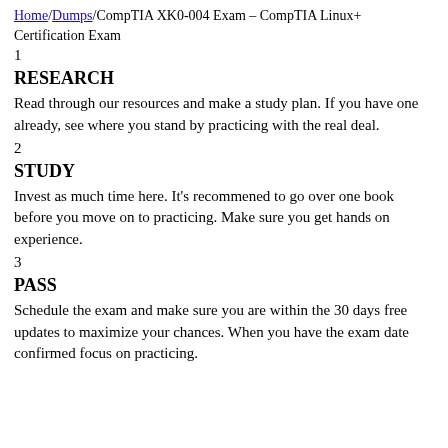Home/Dumps/CompTIA XK0-004 Exam – CompTIA Linux+ Certification Exam
1
RESEARCH
Read through our resources and make a study plan. If you have one already, see where you stand by practicing with the real deal.
2
STUDY
Invest as much time here. It’s recommened to go over one book before you move on to practicing. Make sure you get hands on experience.
3
PASS
Schedule the exam and make sure you are within the 30 days free updates to maximize your chances. When you have the exam date confirmed focus on practicing.